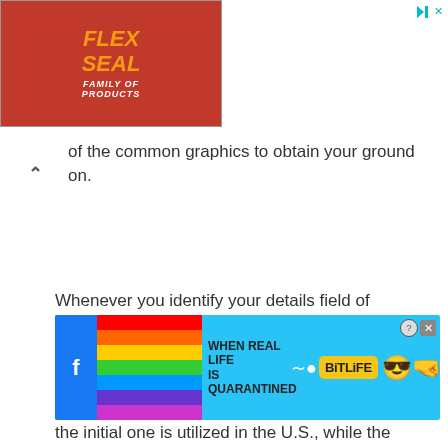[Figure (photo): Flex Seal Family of Products advertisement banner in red with orange/yellow text]
of the common graphics to obtain your ground on.
Whenever you identify your details field of electrical design, you could see much more intricate representations and icons. You ll find out likewise that different nations make use of various symbols. Of the two symbols for resistors over, the initial one is utilized in the U.S., while the second is used in Europe.
[Figure (photo): BitLife advertisement banner: WHEN REAL LIFE IS QUARANTINED with rainbow and emoji graphics]